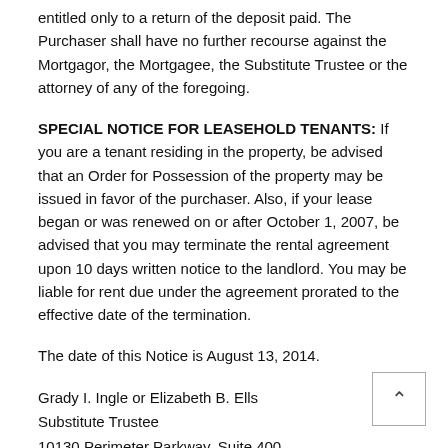entitled only to a return of the deposit paid. The Purchaser shall have no further recourse against the Mortgagor, the Mortgagee, the Substitute Trustee or the attorney of any of the foregoing.
SPECIAL NOTICE FOR LEASEHOLD TENANTS: If you are a tenant residing in the property, be advised that an Order for Possession of the property may be issued in favor of the purchaser. Also, if your lease began or was renewed on or after October 1, 2007, be advised that you may terminate the rental agreement upon 10 days written notice to the landlord. You may be liable for rent due under the agreement prorated to the effective date of the termination.
The date of this Notice is August 13, 2014.
Grady I. Ingle or Elizabeth B. Ells
Substitute Trustee
10130 Perimeter Parkway, Suite 400
Charlotte, NC 28216
(704) 333-8107